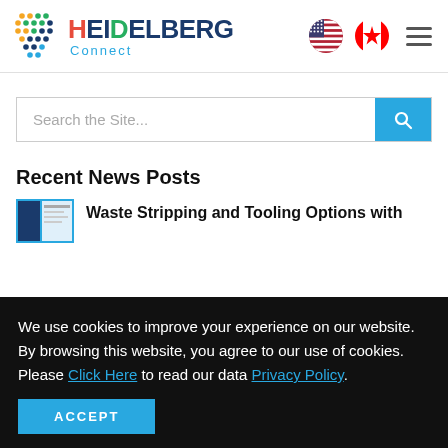[Figure (logo): Heidelberg Connect logo with colorful dot grid and blue/navy text]
Search the Site...
Recent News Posts
Waste Stripping and Tooling Options with
We use cookies to improve your experience on our website. By browsing this website, you agree to our use of cookies. Please Click Here to read our data Privacy Policy.
ACCEPT